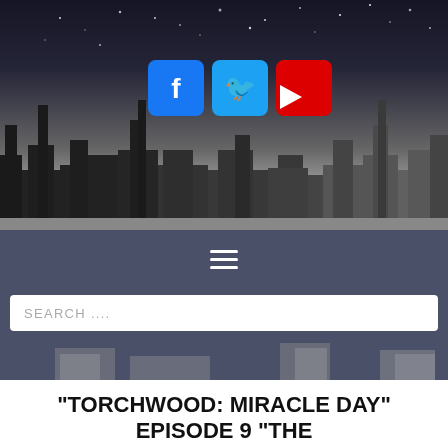[Figure (illustration): Website header with dark cityscape silhouette against a grey gradient night sky with stars. Three social media buttons (Facebook blue, Twitter light blue, YouTube red) are displayed in the upper center area above the skyline.]
[Figure (screenshot): Navigation bar with hamburger menu icon (three horizontal white lines) on a dark blue-grey background (#4a5068).]
[Figure (screenshot): Search bar with placeholder text 'SEARCH ....' on white background, set against the dark blue-grey nav bar.]
"TORCHWOOD: MIRACLE DAY" EPISODE 9 "THE